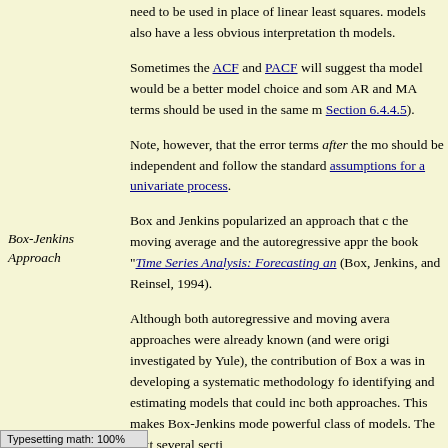need to be used in place of linear least squares. models also have a less obvious interpretation th models.
Sometimes the ACF and PACF will suggest that model would be a better model choice and some AR and MA terms should be used in the same m Section 6.4.4.5).
Note, however, that the error terms after the mo should be independent and follow the standard assumptions for a univariate process.
Box-Jenkins Approach
Box and Jenkins popularized an approach that c the moving average and the autoregressive appr the book "Time Series Analysis: Forecasting an (Box, Jenkins, and Reinsel, 1994).
Although both autoregressive and moving avera approaches were already known (and were origi investigated by Yule), the contribution of Box a was in developing a systematic methodology fo identifying and estimating models that could inc both approaches. This makes Box-Jenkins mode powerful class of models. The next several secti discuss these models in detail.
Typesetting math: 100%